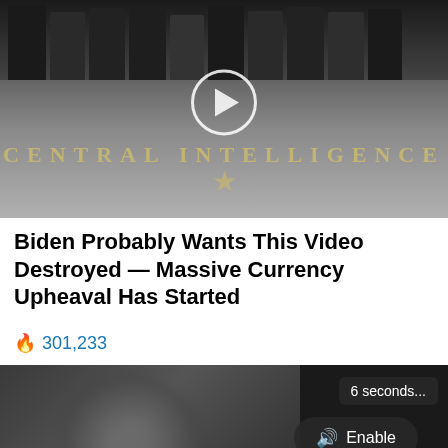[Figure (screenshot): Screenshot of a video thumbnail showing people standing on the CIA headquarters lobby floor seal, with a circular play button overlay.]
Biden Probably Wants This Video Destroyed — Massive Currency Upheaval Has Started
🔥 301,233
[Figure (screenshot): Screenshot of a video advertisement showing a person sitting on a bed in low light, with a '6 seconds...' timer badge, an 'Enable' audio button, a black loading video panel, and a 'Loading' progress indicator at the bottom.]